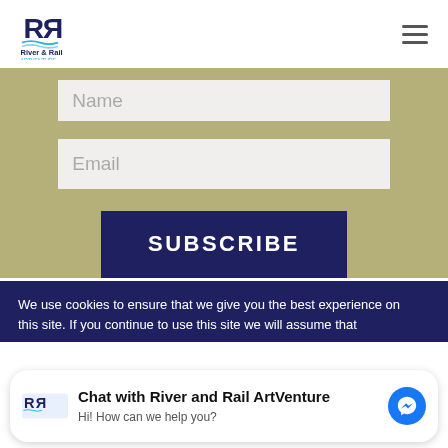River & Rail ArtVenture - navigation header with logo and hamburger menu
Name
Email
SUBSCRIBE
We use cookies to ensure that we give you the best experience on this site. If you continue to use this site we will assume that
Chat with River and Rail ArtVenture
Hi! How can we help you?